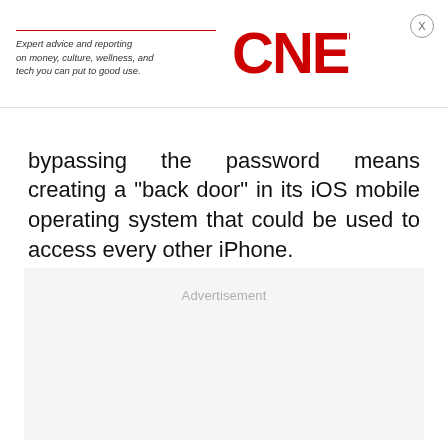Expert advice and reporting on money, culture, wellness, and tech you can put to good use. CNET
bypassing the password means creating a "back door" in its iOS mobile operating system that could be used to access every other iPhone.
[Figure (other): Advertisement placeholder box with light gray background]